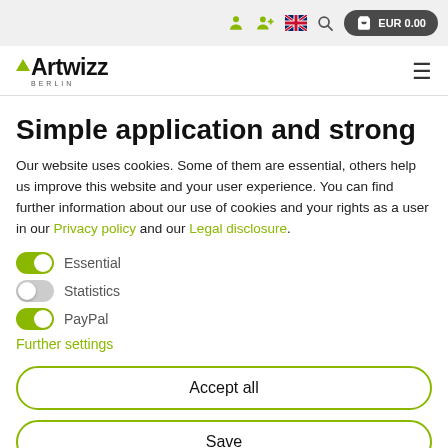EUR 0.00
[Figure (logo): Artwizz Berlin logo with green triangle and hamburger menu icon]
Simple application and strong
Our website uses cookies. Some of them are essential, others help us improve this website and your user experience. You can find further information about our use of cookies and your rights as a user in our Privacy policy and our Legal disclosure.
Essential (toggle on)
Statistics (toggle off)
PayPal (toggle on)
Further settings
Accept all
Save